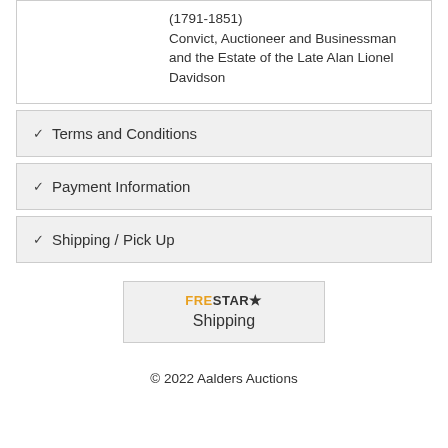(1791-1851)
Convict, Auctioneer and Businessman and the Estate of the Late Alan Lionel Davidson
Terms and Conditions
Payment Information
Shipping / Pick Up
[Figure (logo): FreStar shipping logo with star icon and 'Shipping' text below]
© 2022 Aalders Auctions